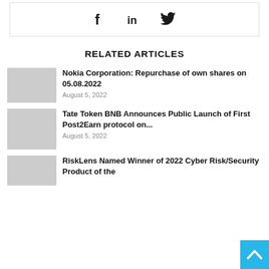[Figure (other): Social share icons: Facebook (f), LinkedIn (in), Twitter bird icon]
RELATED ARTICLES
Nokia Corporation: Repurchase of own shares on 05.08.2022
August 5, 2022
Tate Token BNB Announces Public Launch of First Post2Earn protocol on...
August 5, 2022
RiskLens Named Winner of 2022 Cyber Risk/Security Product of the